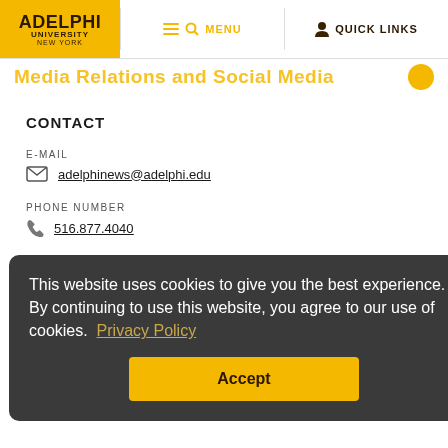Adelphi University New York — MENU | QUICK LINKS
Media Relations and Social Media
CONTACT
E-MAIL
adelphinews@adelphi.edu
PHONE NUMBER
516.877.4040
MORE INFO
Website
LOCATION
Levermore Hall, 205
This website uses cookies to give you the best experience. By continuing to use this website, you agree to our use of cookies. Privacy Policy Accept